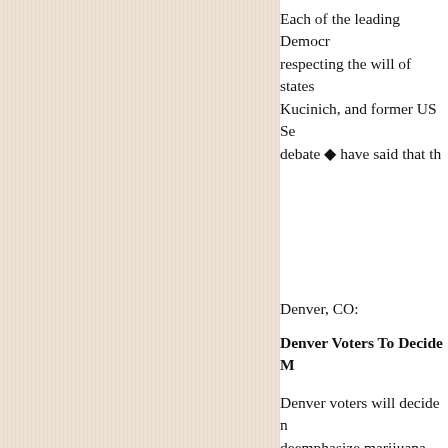[Figure (photo): Textured tan/beige fabric or paper background occupying the left portion of the page]
Each of the leading Democr... respecting the will of states ... Kucinich, and former US Se... debate  ◆ have said that th...
Denver, CO:
Denver Voters To Decide M...
Denver voters will decide n... deemphasize marijuana law...
Sponsored by Citizens for a... Department and the City At... citation, and/or arrest of adu...
Seattle voters passed a simi...